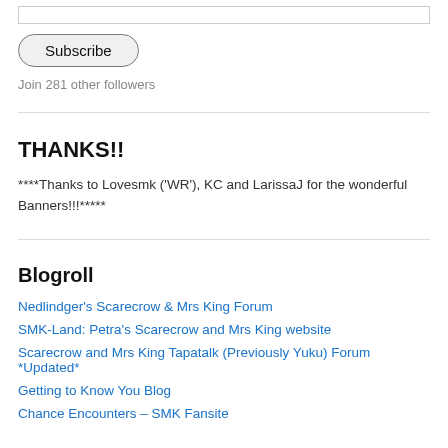[Figure (other): Input bar (text field) for email subscription]
Subscribe
Join 281 other followers
THANKS!!
****Thanks to Lovesmk ('WR'), KC and LarissaJ for the wonderful Banners!!!*****
Blogroll
Nedlindger's Scarecrow & Mrs King Forum
SMK-Land: Petra's Scarecrow and Mrs King website
Scarecrow and Mrs King Tapatalk (Previously Yuku) Forum *Updated*
Getting to Know You Blog
Chance Encounters – SMK Fansite